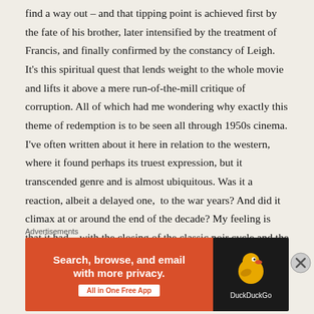find a way out – and that tipping point is achieved first by the fate of his brother, later intensified by the treatment of Francis, and finally confirmed by the constancy of Leigh. It's this spiritual quest that lends weight to the whole movie and lifts it above a mere run-of-the-mill critique of corruption. All of which had me wondering why exactly this theme of redemption is to be seen all through 1950s cinema. I've often written about it here in relation to the western, where it found perhaps its truest expression, but it transcended genre and is almost ubiquitous. Was it a reaction, albeit a delayed one,  to the war years? And did it climax at or around the end of the decade? My feeling is that it had – with the closing of the classic noir cycle and the gradual
Advertisements
[Figure (other): DuckDuckGo advertisement banner with orange left panel saying 'Search, browse, and email with more privacy. All in One Free App' and dark right panel with DuckDuckGo duck logo and brand name.]